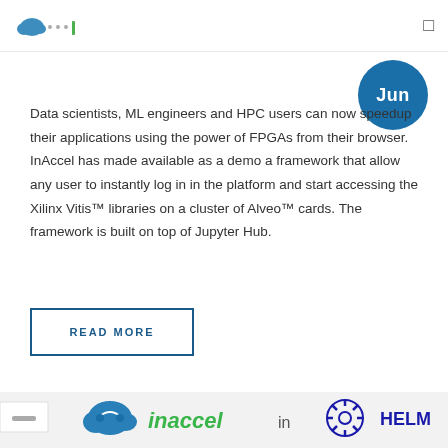InAccel (logo) navigation bar
Data scientists, ML engineers and HPC users can now speedup their applications using the power of FPGAs from their browser. InAccel has made available as a demo a framework that allow any user to instantly log in in the platform and start accessing the Xilinx Vitis™ libraries on a cluster of Alveo™ cards. The framework is built on top of Jupyter Hub.
READ MORE
[Figure (logo): InAccel logo with cloud icon in blue/green and text 'inaccel in HELM' with green inaccel text and dark blue HELM with helm wheel icon]